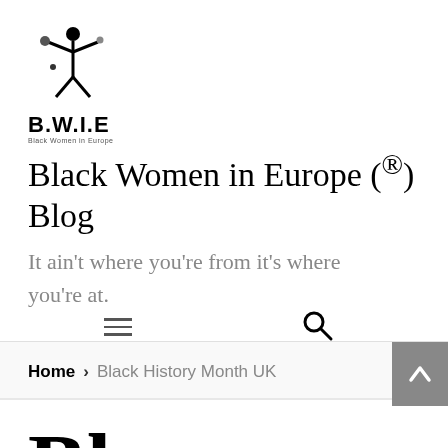[Figure (logo): B.W.I.E Black Women in Europe logo — a stylized figure with arms outstretched and circular elements, in black and grey, above the bold text B.W.I.E and small text Black Women in Europe]
Black Women in Europe (®) Blog
It ain't where you're from it's where you're at.
[Figure (other): Navigation bar with hamburger menu icon (three horizontal lines) on the left and a search magnifying glass icon on the right]
Home > Black History Month UK
Bl...